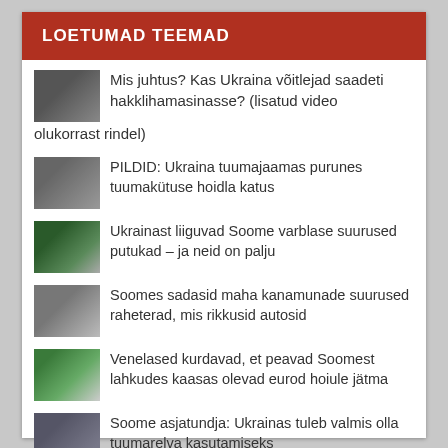LOETUMAD TEEMAD
Mis juhtus? Kas Ukraina võitlejad saadeti hakklihamasinasse? (lisatud video olukorrast rindel)
PILDID: Ukraina tuumajaamas purunes tuumakütuse hoidla katus
Ukrainast liiguvad Soome varblase suurused putukad – ja neid on palju
Soomes sadasid maha kanamunade suurused raheterad, mis rikkusid autosid
Venelased kurdavad, et peavad Soomest lahkudes kaasas olevad eurod hoiule jätma
Soome asjatundja: Ukrainas tuleb valmis olla tuumarelva kasutamiseks